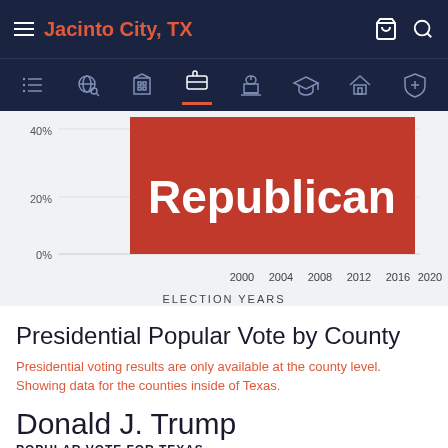Jacinto City, TX
[Figure (bar-chart): Bar chart showing Republican vote share for Jacinto City TX across election years 2000-2020, with a large red 'Republican' label overlay]
Presidential Popular Vote by County
Presidential voting results are only available at the county level. Showing data for the counties inside of Texas.
Donald J. Trump
POPULAR VOTE FOR TEXAS